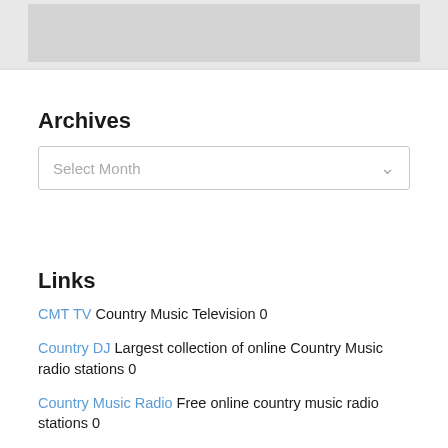[Figure (screenshot): Gray banner area at top of page with a lighter gray inner rectangle]
Archives
[Figure (screenshot): Select Month dropdown box with chevron arrow]
Links
CMT TV Country Music Television 0
Country DJ Largest collection of online Country Music radio stations 0
Country Music Radio Free online country music radio stations 0
GAC TV Great american Country 0